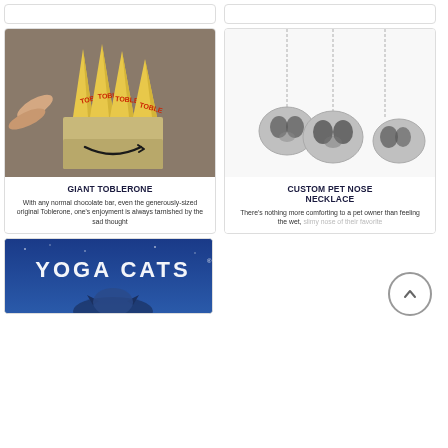[Figure (photo): Top partial strip showing tops of two product cards cut off]
[Figure (photo): Photo of multiple Toblerone chocolate bars sticking out of an Amazon box]
GIANT TOBLERONE
With any normal chocolate bar, even the generously-sized original Toblerone, one's enjoyment is always tarnished by the sad thought
[Figure (photo): Photo of three silver necklaces with dog/pet nose pendants on white background]
CUSTOM PET NOSE NECKLACE
There's nothing more comforting to a pet owner than feeling the wet, slimy nose of their favorite
[Figure (photo): Yoga Cats book cover with blue background and white text]
[Figure (other): Scroll to top button - circle with upward chevron]